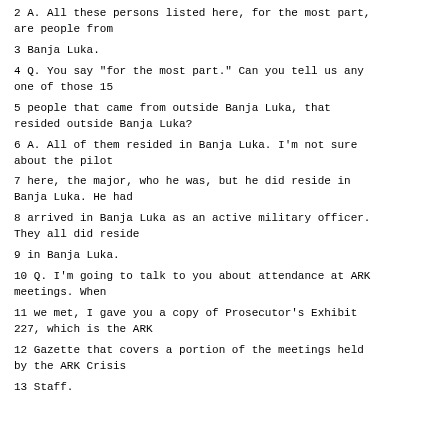2 A. All these persons listed here, for the most part, are people from
3 Banja Luka.
4 Q. You say "for the most part." Can you tell us any one of those 15
5 people that came from outside Banja Luka, that resided outside Banja Luka?
6 A. All of them resided in Banja Luka. I'm not sure about the pilot
7 here, the major, who he was, but he did reside in Banja Luka. He had
8 arrived in Banja Luka as an active military officer. They all did reside
9 in Banja Luka.
10 Q. I'm going to talk to you about attendance at ARK meetings. When
11 we met, I gave you a copy of Prosecutor's Exhibit 227, which is the ARK
12 Gazette that covers a portion of the meetings held by the ARK Crisis
13 Staff.